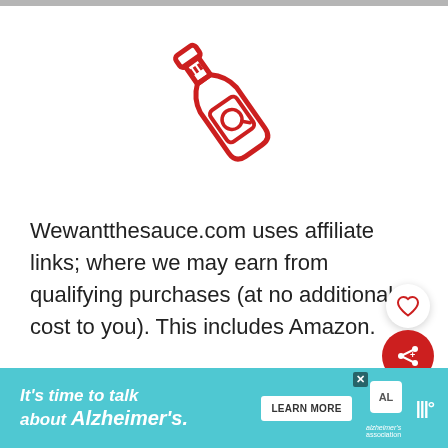[Figure (illustration): Red outline icon of a sauce/hot sauce bottle tilted at an angle, with small hash marks on the neck and a label on the body]
Wewantthesauce.com uses affiliate links; where we may earn from qualifying purchases (at no additional cost to you). This includes Amazon.
[Figure (other): Heart (like) button — circular white button with a red heart outline icon]
[Figure (other): Share button — circular red button with a white share/network icon and plus sign]
[Figure (other): Advertisement banner: teal background with text 'It's time to talk about Alzheimer's.' and a Learn More button and Alzheimer's Association logo]